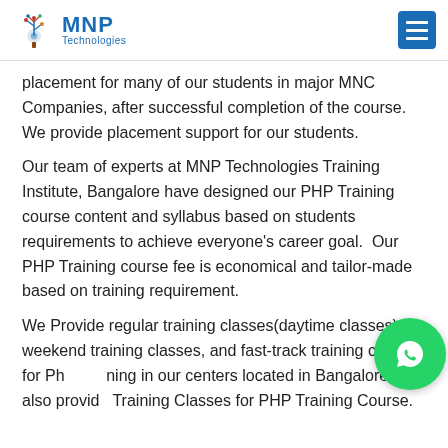MNP Technologies
placement for many of our students in major MNC Companies, after successful completion of the course. We provide placement support for our students.
Our team of experts at MNP Technologies Training Institute, Bangalore have designed our PHP Training course content and syllabus based on students requirements to achieve everyone's career goal.  Our PHP Training course fee is economical and tailor-made based on training requirement.
We Provide regular training classes(daytime classes), weekend training classes, and fast-track training classes for PHP Training in our centers located in Bangalore. We also provide Training Classes for PHP Training Course.